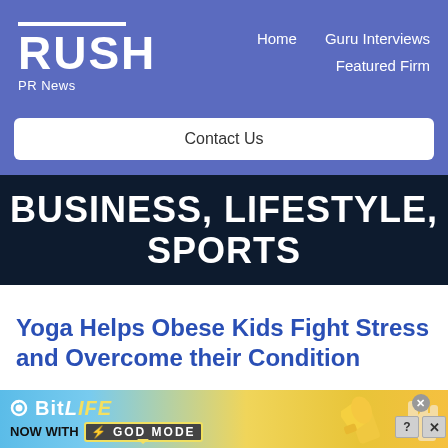RUSH PR News — Home | Guru Interviews | Featured Firm | Contact Us
BUSINESS, LIFESTYLE, SPORTS
Yoga Helps Obese Kids Fight Stress and Overcome their Condition
[Figure (illustration): BitLife advertisement banner reading 'NOW WITH GOD MODE' with thumbs-up graphic and close buttons]